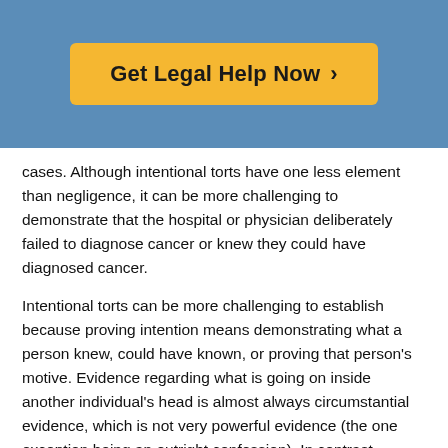[Figure (other): Blue header banner with a yellow 'Get Legal Help Now >' button centered on it]
cases. Although intentional torts have one less element than negligence, it can be more challenging to demonstrate that the hospital or physician deliberately failed to diagnose cancer or knew they could have diagnosed cancer.
Intentional torts can be more challenging to establish because proving intention means demonstrating what a person knew, could have known, or proving that person's motive. Evidence regarding what is going on inside another individual's head is almost always circumstantial evidence, which is not very powerful evidence (the one exception being an outright confession). In contrast, proving that a physician was negligent only requires knowing what a reasonable physician would do, which can be done by calling other